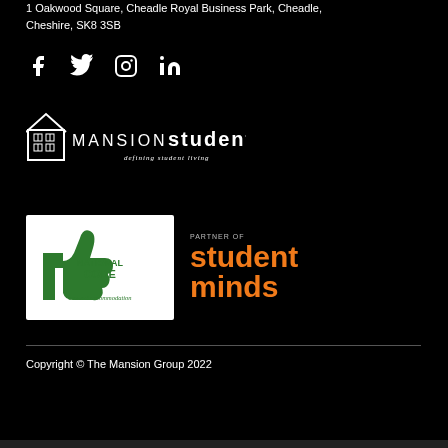1 Oakwood Square, Cheadle Royal Business Park, Cheadle, Cheshire, SK8 3SB
[Figure (illustration): Four social media icons: Facebook, Twitter, Instagram, LinkedIn in white on black background]
[Figure (logo): Mansion Student logo - house icon with text 'MANSION student - defining student living']
[Figure (logo): National Code assured accommodation logo (green thumbs up on white background) and Student Minds logo (orange text on black background)]
Copyright © The Mansion Group 2022